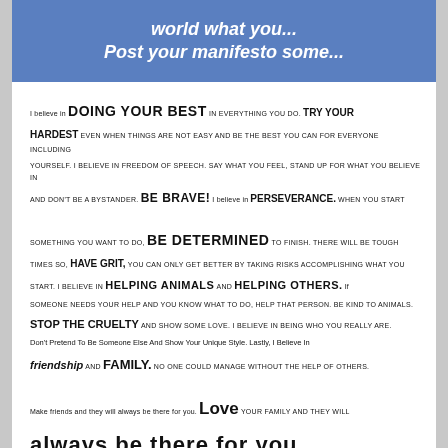[Figure (other): Blue banner at top with italic white text: 'world what you... Post your manifesto some...']
I believe in DOING YOUR BEST in everything you do. TRY YOUR HARDEST even when things are not easy and be the best you can for everyone including yourself. I believe in freedom of speech. Say what you feel, stand up for what you believe in and don't be a bystander. BE BRAVE! I believe in PERSEVERANCE. When you start something you want to do, BE DETERMINED to finish. There will be tough times so, HAVE GRIT, you can only get better by taking risks accomplishing what you start. I believe in HELPING ANIMALS and HELPING OTHERS. If someone needs your help and you know what to do, help that person. Be kind to animals. STOP THE CRUELTY and show some love. I believe in being who you really are. Don't pretend to be someone else and show your unique style. Lastly, I believe in FRIENDSHIP and FAMILY. No one could manage without the help of others. Make friends and they will always be there for you. LOVE your family and they will always be there for you.